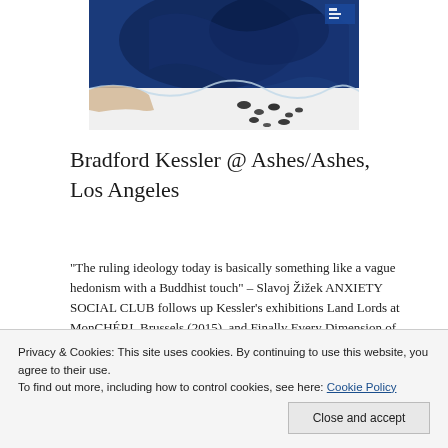[Figure (photo): Partial view of an artwork with blue tones, showing hands and scattered dark objects on a white surface]
Bradford Kessler @ Ashes/Ashes, Los Angeles
“The ruling ideology today is basically something like a vague hedonism with a Buddhist touch” – Slavoj Žižek ANXIETY SOCIAL CLUB follows up Kessler’s exhibitions Land Lords at MonCHÉRI, Brussels (2015), and Finally Every Dimension of the Soil at American Medium, New York (2015). Abstract, anti-romantic notions of revolution and chaos in both society and
Privacy & Cookies: This site uses cookies. By continuing to use this website, you agree to their use.
To find out more, including how to control cookies, see here: Cookie Policy